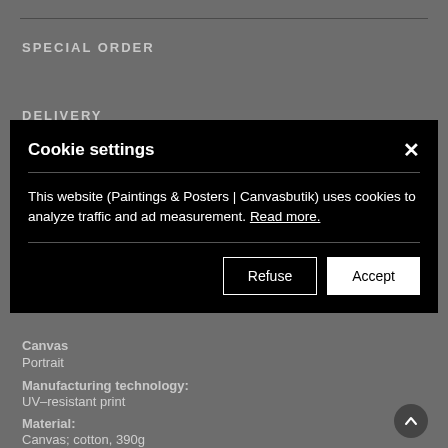SPECIAL ORDER
DELIVERY
[Figure (screenshot): Cookie settings modal dialog on a dark background. Title: 'Cookie settings' with an X close button. Body text: 'This website (Paintings & Posters | Canvasbutik) uses cookies to analyze traffic and ad measurement. Read more.' Two buttons: 'Refuse' (outlined) and 'Accept' (filled white).]
Canvas
Portrait
Manufacturing technology:
UV–resistant print
Material:
Canvas; cotton, 390g